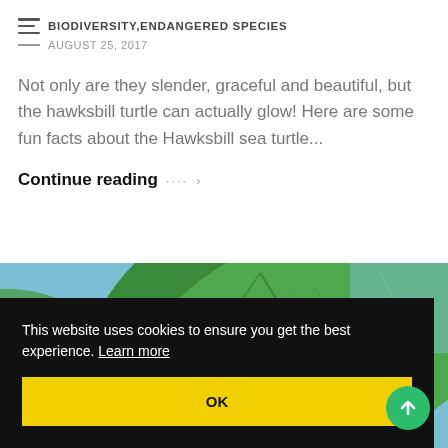BIODIVERSITY,ENDANGERED SPECIES — AUGUST 25, 2017
Not only are they slender, graceful and beautiful, but the hawksbill turtle can actually glow! Here are some fun facts about the Hawksbill sea turtle...
Continue reading →
[Figure (photo): Nature photo showing green leaves and a round green fruit/seed against a blue sky background]
This website uses cookies to ensure you get the best experience. Learn more
OK